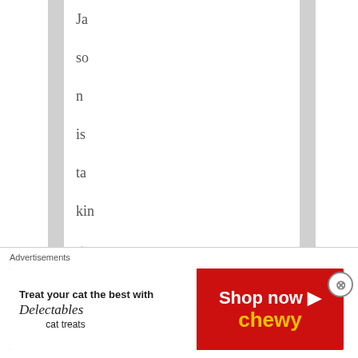Jason is taking out his own frustration of it
Advertisements
[Figure (other): Advertisement banner: 'Treat your cat the best with Delectables cat treats' on white and yellow background, 'Shop now' on red Chewy banner]